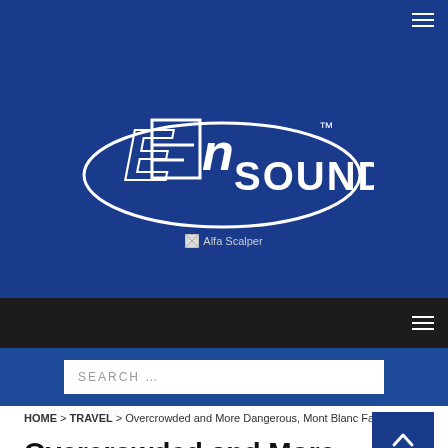En Sound website header with navigation hamburger menu
[Figure (logo): En Sound logo — white stylized 'En sound' text with trademark symbol inside an oval on a dark blue background]
[Figure (other): Broken image placeholder for 'Alfa Scalper']
SEARCH ...
HOME > TRAVEL > Overcrowded and More Dangerous, Mont Blanc Faces a Crisis
Overcrowded and More